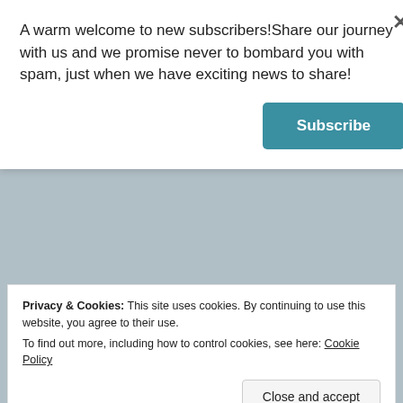A warm welcome to new subscribers!Share our journey with us and we promise never to bombard you with spam, just when we have exciting news to share!
Subscribe
37 bloggers like this.
Another amazing post from
Privacy & Cookies: This site uses cookies. By continuing to use this website, you agree to their use.
To find out more, including how to control cookies, see here: Cookie Policy
Close and accept